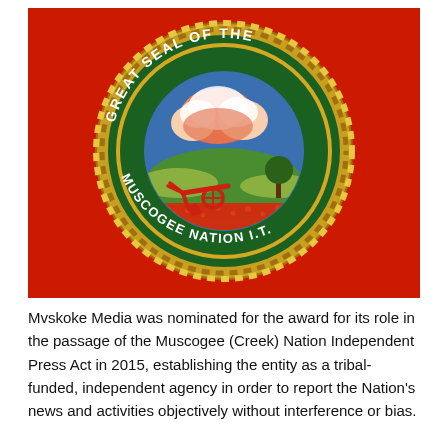[Figure (illustration): The Great Seal of the Muscogee Nation I.T. on a red background. The seal is circular with a gold rope border, a dark green background inscribed with the text 'GREAT SEAL OF THE' at the top and 'MUSCOGEE NATION I.T.' at the bottom. The interior shows a pastoral scene with a plow in a field of red flowers, a tree, green hills, and a blue sky with orange-pink clouds.]
Mvskoke Media was nominated for the award for its role in the passage of the Muscogee (Creek) Nation Independent Press Act in 2015, establishing the entity as a tribal-funded, independent agency in order to report the Nation's news and activities objectively without interference or bias.